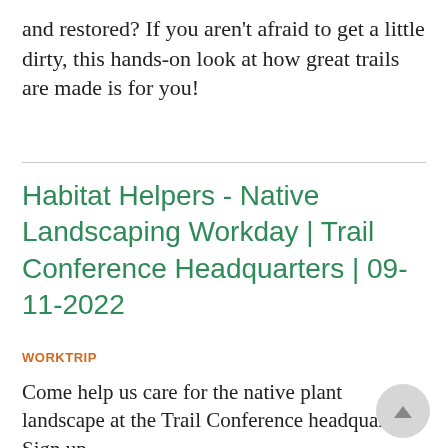and restored? If you aren't afraid to get a little dirty, this hands-on look at how great trails are made is for you!
Habitat Helpers - Native Landscaping Workday | Trail Conference Headquarters | 09-11-2022
WORKTRIP
Come help us care for the native plant landscape at the Trail Conference headquarters! Sign up